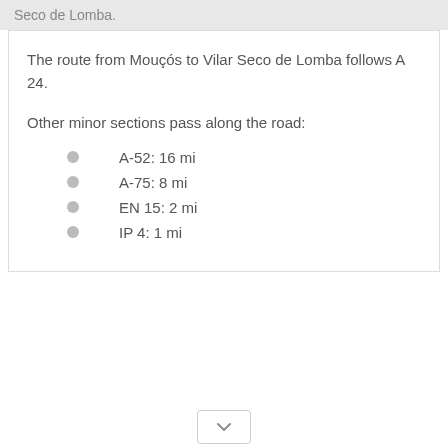Seco de Lomba.
The route from Mouçós to Vilar Seco de Lomba follows A 24.
Other minor sections pass along the road:
A-52: 16 mi
A-75: 8 mi
EN 15: 2 mi
IP 4: 1 mi